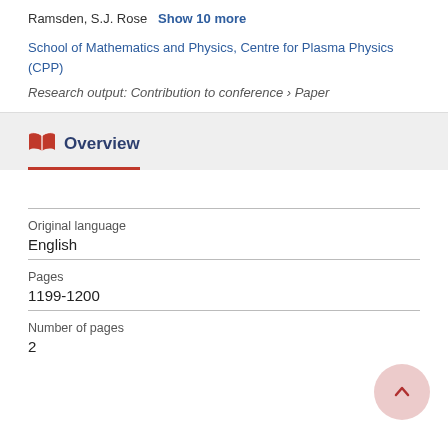Ramsden, S.J. Rose   Show 10 more
School of Mathematics and Physics, Centre for Plasma Physics (CPP)
Research output: Contribution to conference › Paper
Overview
| Field | Value |
| --- | --- |
| Original language | English |
| Pages | 1199-1200 |
| Number of pages | 2 |